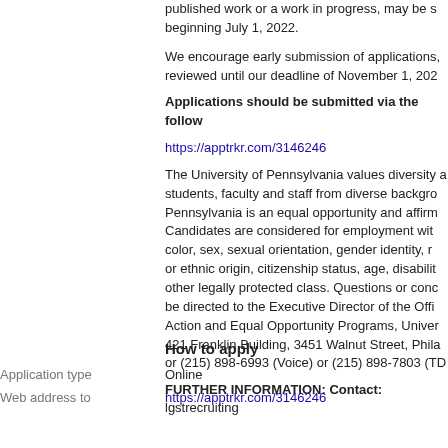published work or a work in progress, may be submitted beginning July 1, 2022.
We encourage early submission of applications, reviewed until our deadline of November 1, 202
Applications should be submitted via the follow
https://apptrkr.com/3146246
The University of Pennsylvania values diversity and students, faculty and staff from diverse backgrounds. Pennsylvania is an equal opportunity and affirmative action employer. Candidates are considered for employment without regard to race, color, sex, sexual orientation, gender identity, religion, national or ethnic origin, citizenship status, age, disability, or other legally protected class. Questions or concerns should be directed to the Executive Director of the Office of Affirmative Action and Equal Opportunity Programs, University of Pennsylvania, 421 Franklin Building, 3451 Walnut Street, Philadelphia, PA 19104 or (215) 898-6993 (Voice) or (215) 898-7803 (TDD)
FURTHER INFORMATION: Contact: lgstrecruiting
How to apply
Application type	Online
Web address to	https://apptrkr.com/3146246